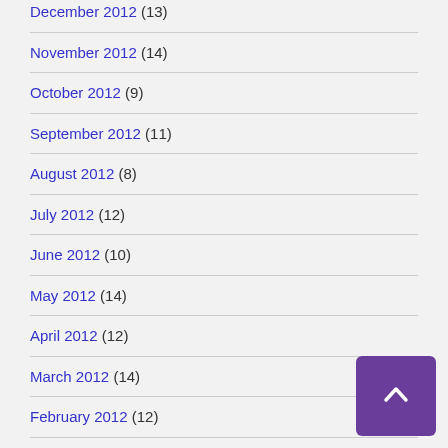December 2012 (13)
November 2012 (14)
October 2012 (9)
September 2012 (11)
August 2012 (8)
July 2012 (12)
June 2012 (10)
May 2012 (14)
April 2012 (12)
March 2012 (14)
February 2012 (12)
January 2012 (15)